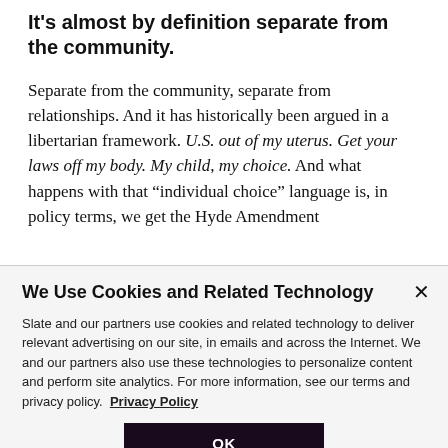It's almost by definition separate from the community.
Separate from the community, separate from relationships. And it has historically been argued in a libertarian framework. U.S. out of my uterus. Get your laws off my body. My child, my choice. And what happens with that “individual choice” language is, in policy terms, we get the Hyde Amendment
We Use Cookies and Related Technology
Slate and our partners use cookies and related technology to deliver relevant advertising on our site, in emails and across the Internet. We and our partners also use these technologies to personalize content and perform site analytics. For more information, see our terms and privacy policy.  Privacy Policy
OK